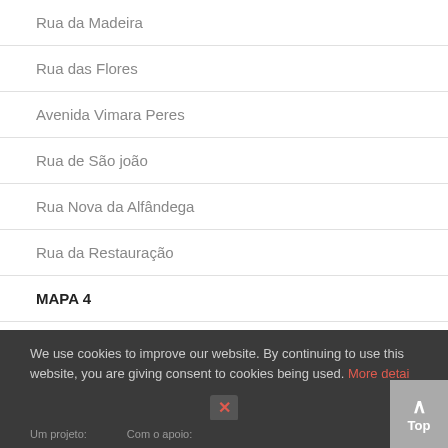Rua da Madeira
Rua das Flores
Avenida Vimara Peres
Rua de São joão
Rua Nova da Alfândega
Rua da Restauração
MAPA 4
Rua Sport Clube da Senhora da Hora
Rua Alfredo Espirito Santo Jr
We use cookies to improve our website. By continuing to use this website, you are giving consent to cookies being used. More detail
Um projeto:    Com o apoio: